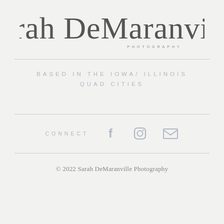[Figure (logo): Sarah DeMaranville Photography signature logo in cursive script with PHOTOGRAPHY subtitle]
BASED IN THE IOWA/ ILLINOIS QUAD CITIES
CONNECT
[Figure (illustration): Social media icons: Facebook, Instagram, Email]
© 2022 Sarah DeMaranville Photography